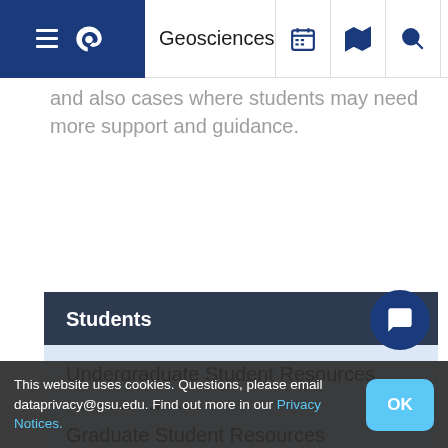Geosciences
and also cases where students may need more support and guidance.
Students
Undergraduate Student Resources
Undergraduate
Graduate Student Resources
This website uses cookies. Questions, please email dataprivacy@gsu.edu. Find out more in our Privacy Notices.